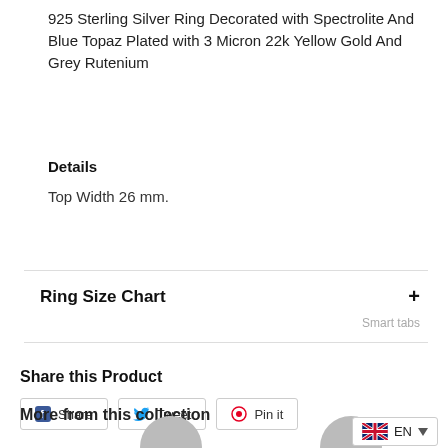925 Sterling Silver Ring Decorated with Spectrolite And Blue Topaz Plated with 3 Micron 22k Yellow Gold And Grey Rutenium
Details
Top Width 26 mm.
Ring Size Chart +
Smart tabs
Share this Product
Share   Tweet   Pin it
More from this collection